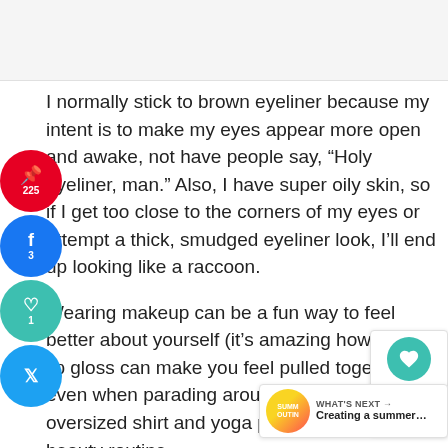[Figure (other): Advertisement or image placeholder area at top of page]
I normally stick to brown eyeliner because my intent is to make my eyes appear more open and awake, not have people say, "Holy eyeliner, man." Also, I have super oily skin, so if I get too close to the corners of my eyes or attempt a thick, smudged eyeliner look, I'll end up looking like a raccoon.
Wearing makeup can be a fun way to feel better about yourself (it's amazing how a little lip gloss can make you feel pulled together even when parading around the house in an oversized shirt and yoga pants). Even so, your beauty routine